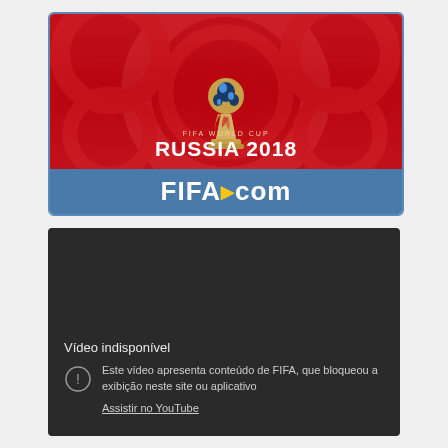[Figure (logo): FIFA World Cup Russia 2018 banner with trophy logo on red background and FIFA.com text on blue bar]
[Figure (screenshot): YouTube video unavailable message on dark background: 'Vídeo indisponível - Este vídeo apresenta conteúdo de FIFA, que bloqueou a exibição neste site ou aplicativo. Assistir no YouTube']